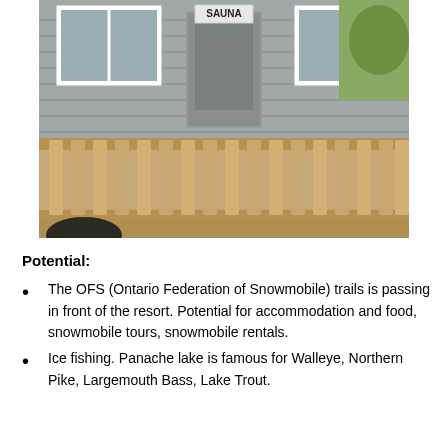[Figure (photo): Outdoor photo of a gray-sided building with a 'SAUNA' sign above the door, white-framed windows, and a wooden deck railing with vertical spindles in the foreground. Green grass and trees visible in background.]
Potential:
The OFS (Ontario Federation of Snowmobile) trails is passing in front of the resort. Potential for accommodation and food, snowmobile tours, snowmobile rentals.
Ice fishing. Panache lake is famous for Walleye, Northern Pike, Largemouth Bass, Lake Trout.